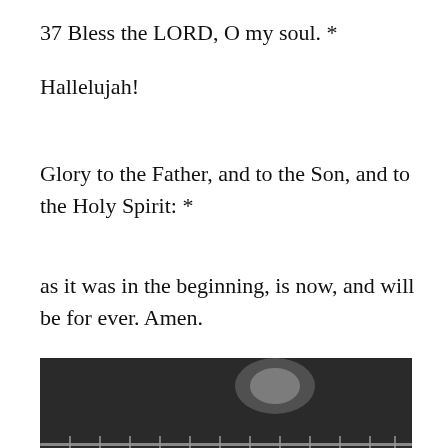37 Bless the LORD, O my soul. *
Hallelujah!
Glory to the Father, and to the Son, and to the Holy Spirit: *
as it was in the beginning, is now, and will be for ever. Amen.
[Figure (photo): Photo of decorated round cookies or biscuits with ornate patterns baking on a dark oven rack/tray inside an oven.]